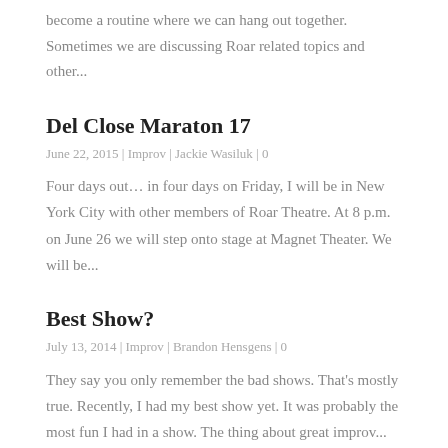become a routine where we can hang out together. Sometimes we are discussing Roar related topics and other...
Del Close Maraton 17
June 22, 2015 | Improv | Jackie Wasiluk | 0
Four days out… in four days on Friday, I will be in New York City with other members of Roar Theatre. At 8 p.m. on June 26 we will step onto stage at Magnet Theater. We will be...
Best Show?
July 13, 2014 | Improv | Brandon Hensgens | 0
They say you only remember the bad shows. That's mostly true. Recently, I had my best show yet. It was probably the most fun I had in a show. The thing about great improv...